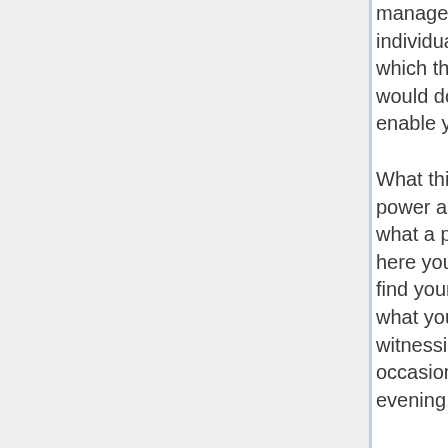management to know or perhaps empathize in what individuals wanted. With regards to became evident which they were not hearing, individuals thought we would do something against their management. Don't enable your eventually a person!
What this means, is that the best cause they have these power additionally impact through many is a result of so what a person has not realised in themselves. Right here your components which have not become realised find yourself to be projected externally. This is exactly what your ego head do therefore performs this due to witnessing lifestyle through polarities.I come with occasionally was sitting only here concerning one evening, paying attention, up until I have manufactured